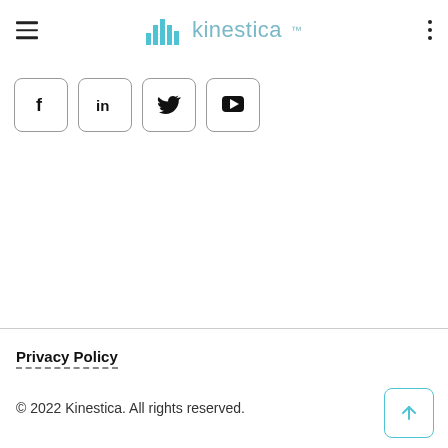kinestica
[Figure (other): Social media icon buttons: Facebook, LinkedIn, Twitter, YouTube]
Privacy Policy
© 2022 Kinestica. All rights reserved.